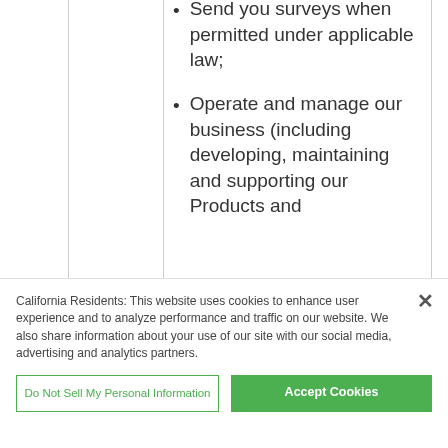Send you surveys when permitted under applicable law;
Operate and manage our business (including developing, maintaining and supporting our Products and
California Residents: This website uses cookies to enhance user experience and to analyze performance and traffic on our website. We also share information about your use of our site with our social media, advertising and analytics partners.
Do Not Sell My Personal Information
Accept Cookies